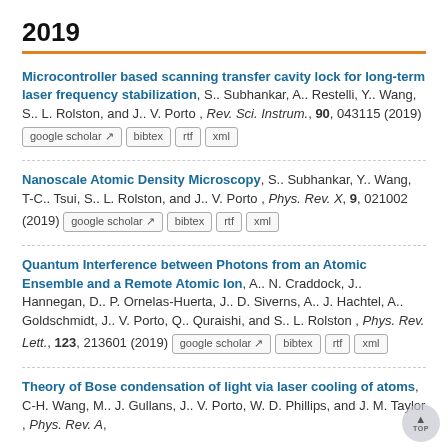2019
Microcontroller based scanning transfer cavity lock for long-term laser frequency stabilization, S.. Subhankar, A.. Restelli, Y.. Wang, S.. L. Rolston, and J.. V. Porto , Rev. Sci. Instrum., 90, 043115 (2019)
Nanoscale Atomic Density Microscopy, S.. Subhankar, Y.. Wang, T-C.. Tsui, S.. L. Rolston, and J.. V. Porto , Phys. Rev. X, 9, 021002 (2019)
Quantum Interference between Photons from an Atomic Ensemble and a Remote Atomic Ion, A.. N. Craddock, J.. Hannegan, D.. P. Ornelas-Huerta, J.. D. Siverns, A.. J. Hachtel, A.. Goldschmidt, J.. V. Porto, Q.. Quraishi, and S.. L. Rolston , Phys. Rev. Lett., 123, 213601 (2019)
Theory of Bose condensation of light via laser cooling of atoms, C-H. Wang, M.. J. Gullans, J.. V. Porto, W. D. Phillips, and J. M. Taylor , Phys. Rev. A, 99, 031401 (2019)